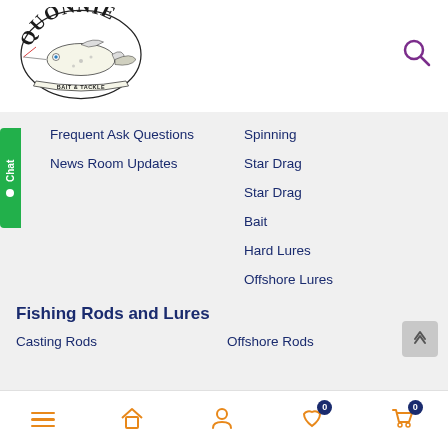[Figure (logo): Quonnie Bait & Tackle circular logo with a fish illustration]
Frequent Ask Questions
Spinning
News Room Updates
Star Drag
Star Drag
Bait
Hard Lures
Offshore Lures
Fishing Rods and Lures
Casting Rods
Offshore Rods
Menu | Home | Account | Wishlist (0) | Cart (0)